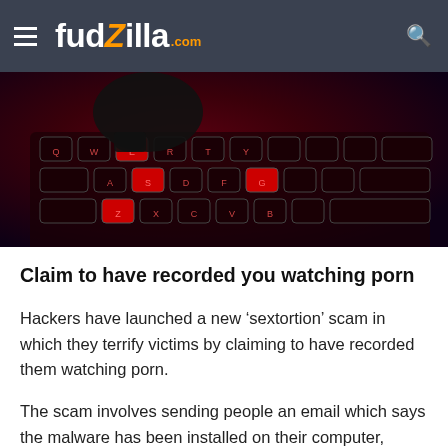fudzilla.com
[Figure (photo): Close-up photo of a backlit red keyboard with a gloved hand pressing a key, suggesting hacking or cybercrime.]
Claim to have recorded you watching porn
Hackers have launched a new ‘sextortion’ scam in which they terrify victims by claiming to have recorded them watching porn.
The scam involves sending people an email which says the malware has been installed on their computer, allowing cyber-crooks to capture footage of them in the act.